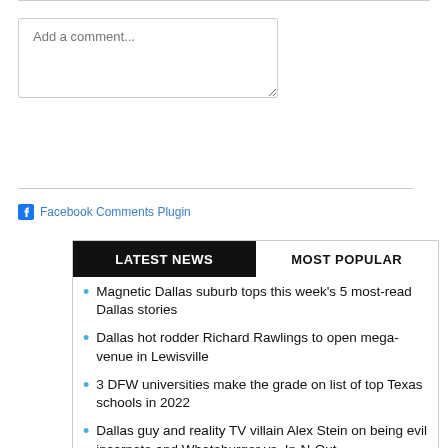Add a comment...
Facebook Comments Plugin
Magnetic Dallas suburb tops this week's 5 most-read Dallas stories
Dallas hot rodder Richard Rawlings to open mega-venue in Lewisville
3 DFW universities make the grade on list of top Texas schools in 2022
Dallas guy and reality TV villain Alex Stein on being evil incarnate and Whataburger vs. In-N-Out
Rare loft in Dallas Cedars District on